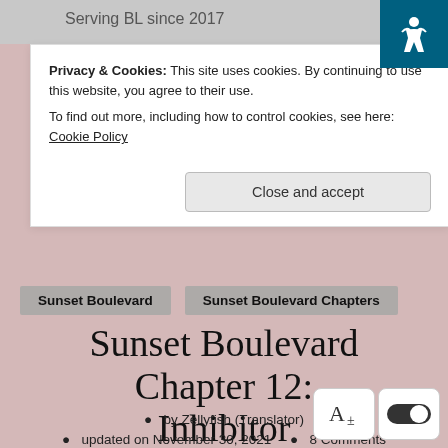Serving BL since 2017
Privacy & Cookies: This site uses cookies. By continuing to use this website, you agree to their use.
To find out more, including how to control cookies, see here: Cookie Policy
Close and accept
Sunset Boulevard
Sunset Boulevard Chapters
Sunset Boulevard Chapter 12: Inhibitor
by Zellyfish (Translator)
updated on November 30, 2021   •   8 Comments